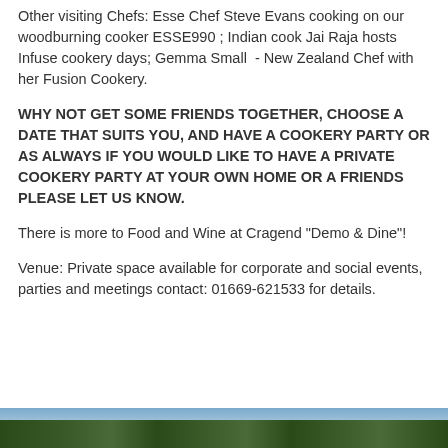Other visiting Chefs: Esse Chef Steve Evans cooking on our woodburning cooker ESSE990 ; Indian cook Jai Raja hosts Infuse cookery days; Gemma Small  - New Zealand Chef with her Fusion Cookery.
WHY NOT GET SOME FRIENDS TOGETHER, CHOOSE A DATE THAT SUITS YOU, AND HAVE A COOKERY PARTY OR AS ALWAYS IF YOU WOULD LIKE TO HAVE A PRIVATE COOKERY PARTY AT YOUR OWN HOME OR A FRIENDS PLEASE LET US KNOW.
There is more to Food and Wine at Cragend "Demo & Dine"!
Venue: Private space available for corporate and social events, parties and meetings contact: 01669-621533 for details.
[Figure (photo): Landscape photo of countryside/hills at the bottom of the page]